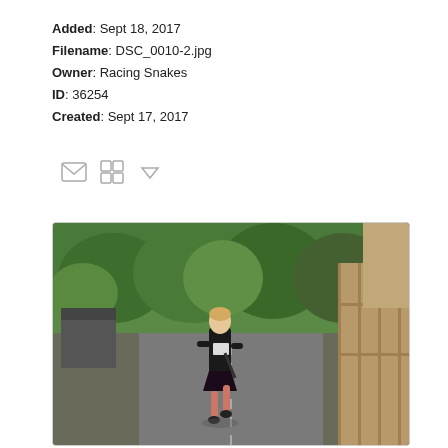Added: Sept 18, 2017
Filename: DSC_0010-2.jpg
Owner: Racing Snakes
ID: 36254
Created: Sept 17, 2017
[Figure (photo): A woman running along a road wearing a black outfit and race number, with green trees and a wooden fence in the background.]